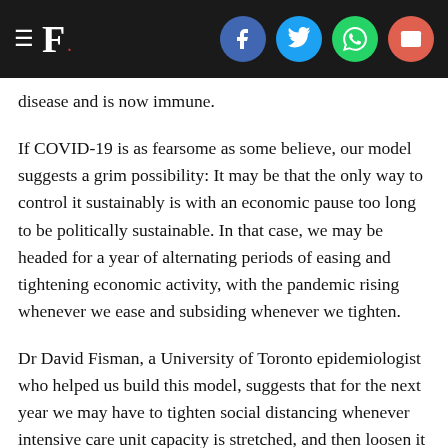F. [logo with social share icons: Facebook, Twitter, WhatsApp, Email]
disease and is now immune.
If COVID-19 is as fearsome as some believe, our model suggests a grim possibility: It may be that the only way to control it sustainably is with an economic pause too long to be politically sustainable. In that case, we may be headed for a year of alternating periods of easing and tightening economic activity, with the pandemic rising whenever we ease and subsiding whenever we tighten.
Dr David Fisman, a University of Toronto epidemiologist who helped us build this model, suggests that for the next year we may have to tighten social distancing whenever intensive care unit capacity is stretched, and then loosen it when the situation improves. “This gives the economy and the population ‘breaks’ so that people can breathe and businesses can operate,” Fisman said.
There are some hopeful signs that social distancing and